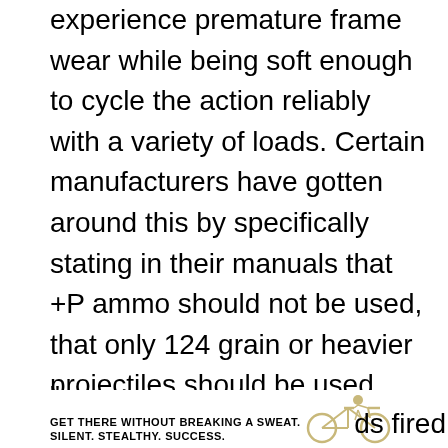experience premature frame wear while being soft enough to cycle the action reliably with a variety of loads. Certain manufacturers have gotten around this by specifically stating in their manuals that +P ammo should not be used, that only 124 grain or heavier projectiles should be used (Kimber SOLO), or requiring a lengthy break-in period of 200-plus rounds (Kahr PM9). Or, as was the case with my SA EMP 9mm, several dates between the feedramp and my Dremel and about 300 rounds before it would feed anything reliably.
"
[Figure (infographic): Advertisement with bold text 'GET THERE WITHOUT BREAKING A SWEAT. SILENT. STEALTHY. SUCCESS.' with a bicycle image and partial text 'ds fired']